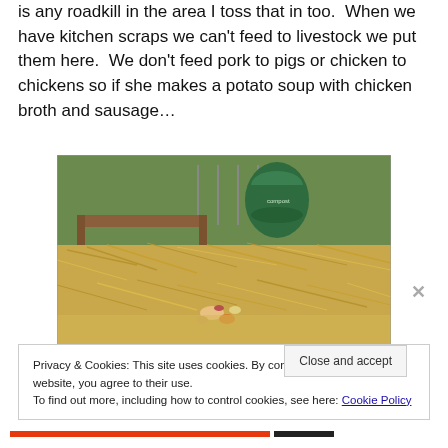is any roadkill in the area I toss that in too.  When we have kitchen scraps we can't feed to livestock we put them here.  We don't feed pork to pigs or chicken to chickens so if she makes a potato soup with chicken broth and sausage…
[Figure (photo): Outdoor compost area with straw/hay spread on the ground, food scraps visible, raised garden bed frame in background, and a green compost bin in the background. Garden setting.]
Privacy & Cookies: This site uses cookies. By continuing to use this website, you agree to their use.
To find out more, including how to control cookies, see here: Cookie Policy